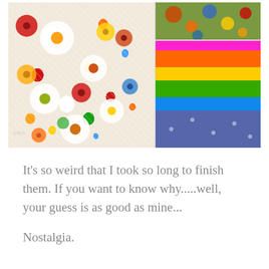[Figure (photo): Two colorful children's skirts/aprons. Left: a floral patterned apron with bold flowers in red, orange, yellow, blue, green, white on a white background, with lace overlay. Right top: a colorful patterned fabric piece. Right bottom: a rainbow-striped skirt with bands of pink, orange, yellow, green, blue, and purple/navy polka dot.]
It's so weird that I took so long to finish them. If you want to know why.....well, your guess is as good as mine...
Nostalgia.